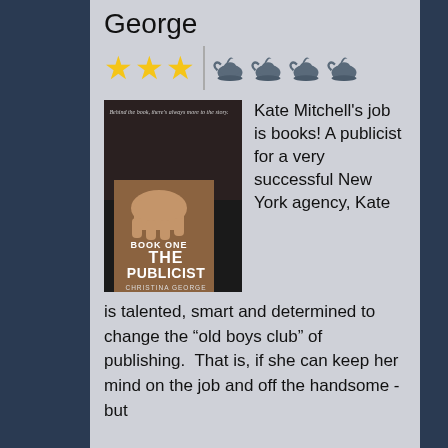George
[Figure (infographic): Rating row with 3 yellow stars and 4 teapot icons separated by a vertical line]
[Figure (photo): Book cover of 'The Publicist' by Christina George, showing a person holding a book]
Kate Mitchell's job is books! A publicist for a very successful New York agency, Kate is talented, smart and determined to change the “old boys club” of publishing. That is, if she can keep her mind on the job and off the handsome - but